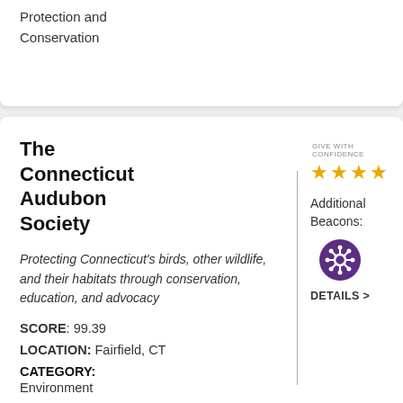Protection and Conservation
The Connecticut Audubon Society
Protecting Connecticut's birds, other wildlife, and their habitats through conservation, education, and advocacy
SCORE: 99.39
LOCATION: Fairfield, CT
CATEGORY: Environment
CAUSE : Environmental Protection and